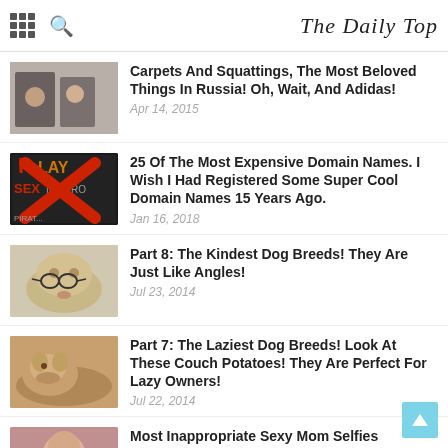The Daily Top
Carpets And Squattings, The Most Beloved Things In Russia! Oh, Wait, And Adidas!
Apr 14, 2015
25 Of The Most Expensive Domain Names. I Wish I Had Registered Some Super Cool Domain Names 15 Years Ago.
Jan 16, 2018
Part 8: The Kindest Dog Breeds! They Are Just Like Angles!
Jul 23, 2014
Part 7: The Laziest Dog Breeds! Look At These Couch Potatoes! They Are Perfect For Lazy Owners!
Jul 22, 2014
Most Inappropriate Sexy Mom Selfies